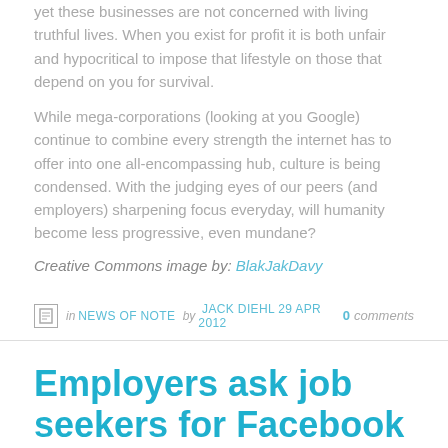yet these businesses are not concerned with living truthful lives. When you exist for profit it is both unfair and hypocritical to impose that lifestyle on those that depend on you for survival.
While mega-corporations (looking at you Google) continue to combine every strength the internet has to offer into one all-encompassing hub, culture is being condensed. With the judging eyes of our peers (and employers) sharpening focus everyday, will humanity become less progressive, even mundane?
Creative Commons image by: BlakJakDavy
in NEWS OF NOTE by JACK DIEHL 29 APR 2012 0 comments
Employers ask job seekers for Facebook passwords
(También en Español)
[Figure (photo): Dark image strip at bottom of page]